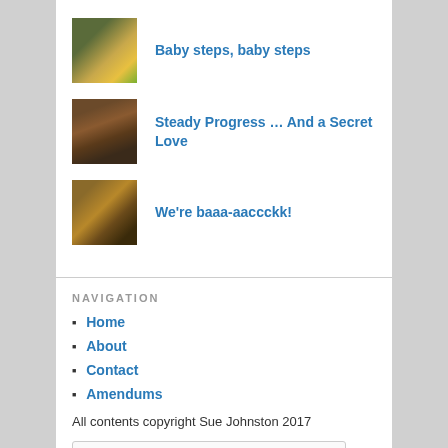[Figure (photo): Small thumbnail photo of a person or child with yellow/green clothing outdoors]
Baby steps, baby steps
[Figure (photo): Small thumbnail photo of a dog, brown/tan colored, outdoors]
Steady Progress … And a Secret Love
[Figure (photo): Small thumbnail photo of a tan/golden dog facing camera]
We're baaa-aaccckk!
NAVIGATION
Home
About
Contact
Amendums
All contents copyright Sue Johnston 2017